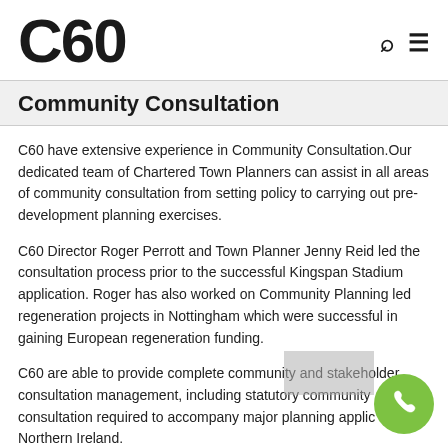C60
Community Consultation
C60 have extensive experience in Community Consultation.Our dedicated team of Chartered Town Planners can assist in all areas of community consultation from setting policy to carrying out pre-development planning exercises.
C60 Director Roger Perrott and Town Planner Jenny Reid led the consultation process prior to the successful Kingspan Stadium application. Roger has also worked on Community Planning led regeneration projects in Nottingham which were successful in gaining European regeneration funding.
C60 are able to provide complete community and stakeholder consultation management, including statutory community consultation required to accompany major planning applications in Northern Ireland.